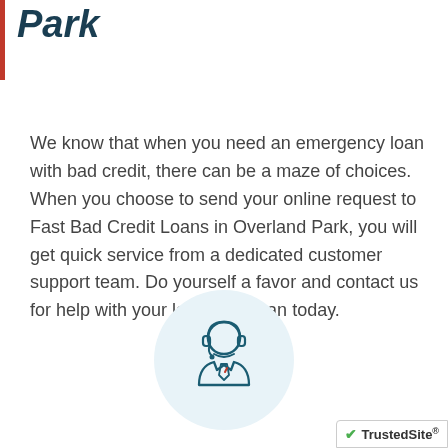Park
We know that when you need an emergency loan with bad credit, there can be a maze of choices. When you choose to send your online request to Fast Bad Credit Loans in Overland Park, you will get quick service from a dedicated customer support team. Do yourself a favor and contact us for help with your low credit loan today.
[Figure (illustration): Customer support agent icon — a person wearing a headset, shown inside a light blue circle background]
[Figure (logo): TrustedSite badge with green checkmark]